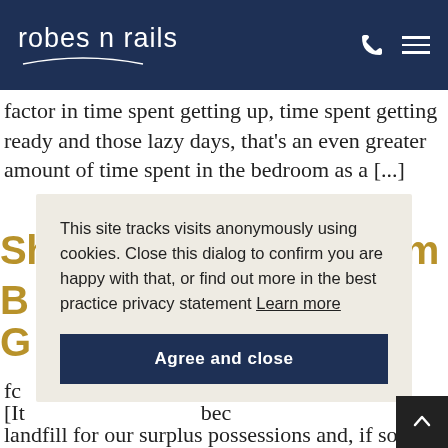robes n rails
factor in time spent getting up, time spent getting ready and those lazy days, that’s an even greater amount of time spent in the bedroom as a [...]
Should My Spare Room
B… l
G
This site tracks visits anonymously using cookies. Close this dialog to confirm you are happy with that, or find out more in the best practice privacy statement Learn more
Agree and close
fc
[It                                      bec
landfill for our surplus possessions and, if so, the